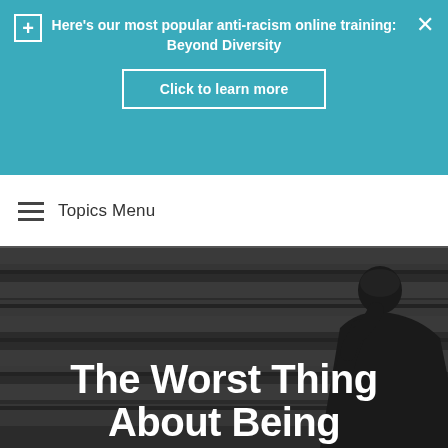Here's our most popular anti-racism online training: Beyond Diversity
Click to learn more
Topics Menu
[Figure (photo): Person sitting on dark stairs with head bowed, dark moody background with staircase steps visible]
The Worst Thing About Being